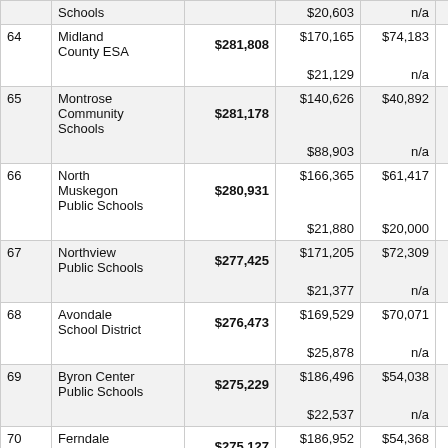| # | District | Total | Col1 | Col2 | Col3 |
| --- | --- | --- | --- | --- | --- |
|  | Schools |  | $20,603 | n/a | $13,363 |
| 64 | Midland County ESA | $281,808 | $170,165 / $21,129 | $74,183 / n/a | n/a / $16,331 |
| 65 | Montrose Community Schools | $281,178 | $140,626 / $88,903 | $40,892 / n/a | n/a / $10,758 |
| 66 | North Muskegon Public Schools | $280,931 | $166,365 / $21,880 | $61,417 / $20,000 | n/a / $11,269 |
| 67 | Northview Public Schools | $277,425 | $171,205 / $21,377 | $72,309 / n/a | n/a / $12,534 |
| 68 | Avondale School District | $276,473 | $169,529 / $25,878 | $70,071 / n/a | n/a / $10,996 |
| 69 | Byron Center Public Schools | $275,229 | $186,496 / $22,537 | $54,038 / n/a | n/a / $12,158 |
| 70 | Ferndale Public Schools | $275,127 | $186,952 / $22,243 | $54,368 / n/a | n/a / $11,564 |
| 71 | St. Clair I.S.D. | $274,551 | $173,643 | $68,881 | n/a |